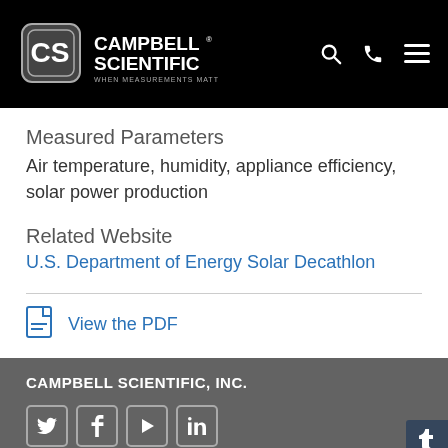Campbell Scientific — When Measurements Matter
Measured Parameters
Air temperature, humidity, appliance efficiency, solar power production
Related Website
U.S. Department of Energy Solar Decathlon
View the PDF
CAMPBELL SCIENTIFIC, INC.